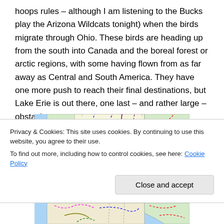hoops rules – although I am listening to the Bucks play the Arizona Wildcats tonight) when the birds migrate through Ohio. These birds are heading up from the south into Canada and the boreal forest or arctic regions, with some having flown from as far away as Central and South America. They have one more push to reach their final destinations, but Lake Erie is out there, one last – and rather large – obstacle to cross.
[Figure (map): Weather or migration map showing North America with colored dashed and solid lines indicating weather fronts or migration routes, partially visible in two sections above and below the cookie banner.]
Privacy & Cookies: This site uses cookies. By continuing to use this website, you agree to their use.
To find out more, including how to control cookies, see here: Cookie Policy